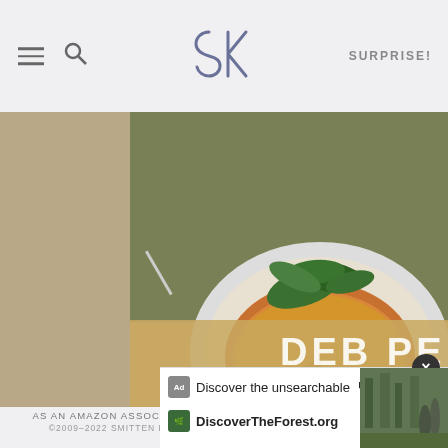SK logo with hamburger menu, search icon, and SURPRISE! navigation
[Figure (photo): A cookbook cover showing a frittata or potato cake on a white plate with green arugula on top, by DEB PERELMAN, new york times best-selling author. The book cover is shown at an angle with pages visible on the right side.]
AS AN AMAZON ASSOCIATE I EARN FROM QUALIFYING PURCHASES.
©2009–2022 SMITTEN KITCHEN. PROUDLY POWERED BY WORDPRESS. HOSTED BY PRESSABLE.
[Figure (screenshot): Advertisement banner: Ad icon, 'Discover the unsearchable' with microphone icon, DiscoverTheForest.org, close button, photo of people in forest on right side.]